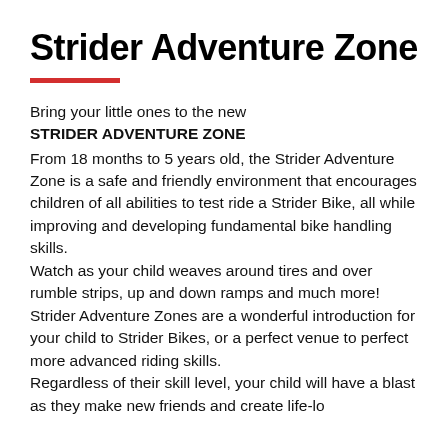Strider Adventure Zone
Bring your little ones to the new
STRIDER ADVENTURE ZONE
From 18 months to 5 years old, the Strider Adventure Zone is a safe and friendly environment that encourages children of all abilities to test ride a Strider Bike, all while improving and developing fundamental bike handling skills.
Watch as your child weaves around tires and over rumble strips, up and down ramps and much more! Strider Adventure Zones are a wonderful introduction for your child to Strider Bikes, or a perfect venue to perfect more advanced riding skills.
Regardless of their skill level, your child will have a blast as they make new friends and create life-long...